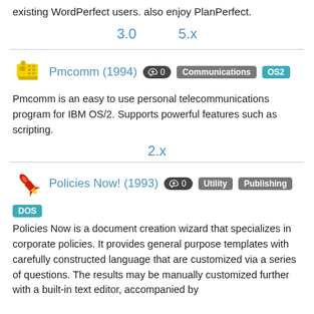existing WordPerfect users. also enjoy PlanPerfect.
3.0   5.x
Pmcomm (1994)  [0]  Communications  OS2
Pmcomm is an easy to use personal telecommunications program for IBM OS/2. Supports powerful features such as scripting.
2.x
Policies Now! (1993)  [0]  Utility  Publishing  DOS
Policies Now is a document creation wizard that specializes in corporate policies. It provides general purpose templates with carefully constructed language that are customized via a series of questions. The results may be manually customized further with a built-in text editor, accompanied by